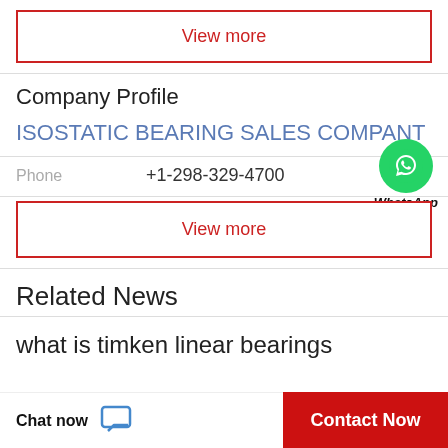View more
Company Profile
ISOSTATIC BEARING SALES COMPANT
Phone  +1-298-329-4700
[Figure (logo): WhatsApp green circle icon with phone handset, labeled WhatsApp Online]
View more
WhatsApp Online
Related News
what is timken linear bearings
Chat now
Contact Now